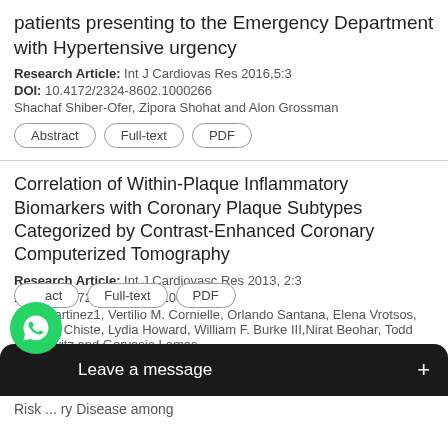patients presenting to the Emergency Department with Hypertensive urgency
Research Article: Int J Cardiovas Res 2016,5:3
DOI: 10.4172/2324-8602.1000266
Shachaf Shiber-Ofer, Zipora Shohat and Alon Grossman
Abstract | Full-text | PDF
Correlation of Within-Plaque Inflammatory Biomarkers with Coronary Plaque Subtypes Categorized by Contrast-Enhanced Coronary Computerized Tomography
Research Article: Int J Cardiovasc Res 2013, 2:3
DOI: 10.4172/2324-8602.1000128
Aldo Martinez1, Vertilio M. Cornielle, Orlando Santana, Elena Vrotsos, Marcela Chiste, Lydia Howard, William F. Burke III,Nirat Beohar, Todd Heimowitz and Gervasio Lamas
Abstract | Full-text | PDF
Risk ... ry Disease among